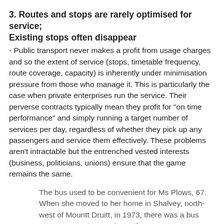3. Routes and stops are rarely optimised for service; Existing stops often disappear
- Public transport never makes a profit from usage charges and so the extent of service (stops, timetable frequency, route coverage, capacity) is inherently under minimisation pressure from those who manage it. This is particularly the case when private enterprises run the service. Their perverse contracts typically mean they profit for "on time performance" and simply running a target number of services per day, regardless of whether they pick up any passengers and service them effectively. These problems aren't intractable but the entrenched vested interests (business, politicians, unions) ensure that the game remains the same.
The bus used to be convenient for Ms Plows, 67. When she moved to her home in Shalvey, north-west of Mountt Druitt, in 1973, there was a bus stop one street away. Later there was a stop outside her house. But about four years ago the weekday buses changed routes and weekend buses were slashed. The stop on her street vanished.